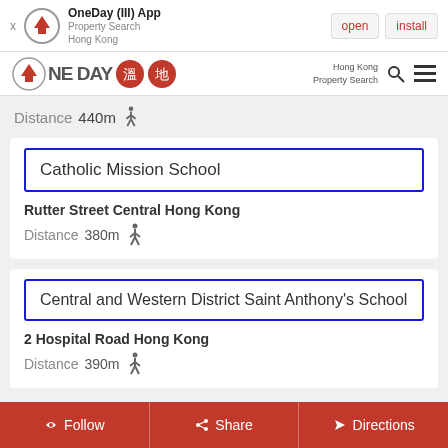OneDay (III) App Property Search Hong Kong — open | install
OneDay 溫地 — Hong Kong Property Search
Distance 440m (walking icon)
Catholic Mission School
Rutter Street Central Hong Kong
Distance 380m (walking icon)
Central and Western District Saint Anthony's School
2 Hospital Road Hong Kong
Distance 390m (walking icon)
Follow | Share | Directions